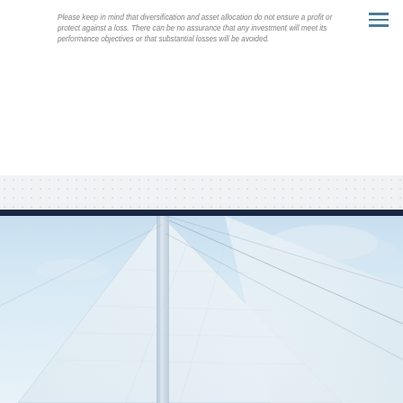Please keep in mind that diversification and asset allocation do not ensure a profit or protect against a loss. There can be no assurance that any investment will meet its performance objectives or that substantial losses will be avoided.
[Figure (photo): Close-up photograph of white sailboat sails against a light blue sky with clouds]